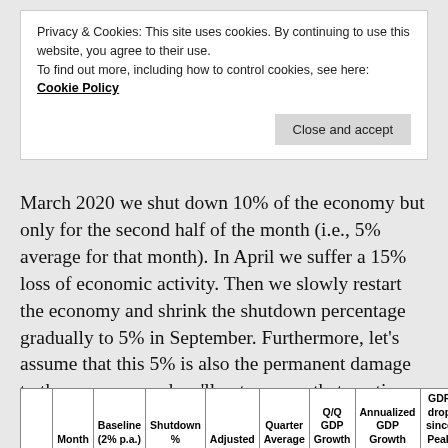Privacy & Cookies: This site uses cookies. By continuing to use this website, you agree to their use.
To find out more, including how to control cookies, see here: Cookie Policy
March 2020 we shut down 10% of the economy but only for the second half of the month (i.e., 5% average for that month). In April we suffer a 15% loss of economic activity. Then we slowly restart the economy and shrink the shutdown percentage gradually to 5% in September. Furthermore, let's assume that this 5% is also the permanent damage to the economy and we'll not recover that anytime soon (at least not in 2020).
|  | Month | Baseline (2% p.a.) | Shutdown % | Adjusted | Quarter Average | Q/Q GDP Growth | Annualized GDP Growth | GDP drop since Peak |
| --- | --- | --- | --- | --- | --- | --- | --- | --- |
| 2019 Q4 | Oct-19 | 100.00 |  | 100.00 |  |  |  |  |
|  | Nov-19 | 100.17 |  | 100.17 | 100.17 |  |  | 0.00% |